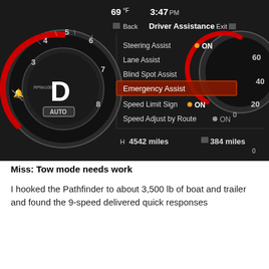[Figure (screenshot): Car dashboard display showing RPM gauge on left with D (Drive) and AUTO mode, and a Driver Assistance menu in the center-right area. Menu shows: Steering Assist (ON with orange dot), Lane Assist, Blind Spot Assist, Emergency Assist (highlighted in red/orange), Speed Limit Sign (ON with orange dot), Speed Adjust by Route (ON). Status bar shows 69°F and 3:47 PM. Odometer shows 4542 miles and fuel range 384 miles. Speedometer gauge visible on far right.]
Miss: Tow mode needs work
I hooked the Pathfinder to about 3,500 lb of boat and trailer and found the 9-speed delivered quick responses